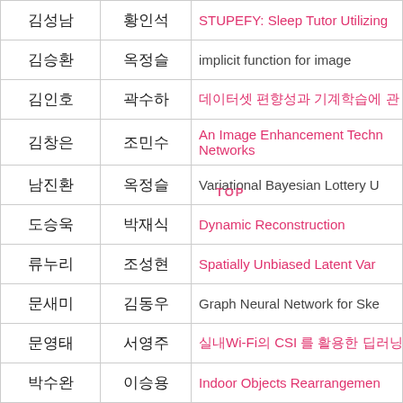| 학생명 | 지도교수 | 논문제목 |
| --- | --- | --- |
| 김성남 | 황인석 | STUPEFY: Sleep Tutor Utilizing… |
| 김승환 | 옥정슬 | implicit function for image |
| 김인호 | 곽수하 | 데이터셋 편향성과 기계학습에 관… |
| 김창은 | 조민수 | An Image Enhancement Tech… Networks |
| 남진환 | 옥정슬 | Variational Bayesian Lottery U… |
| 도승욱 | 박재식 | Dynamic Reconstruction |
| 류누리 | 조성현 | Spatially Unbiased Latent Var… |
| 문새미 | 김동우 | Graph Neural Network for Ske… |
| 문영태 | 서영주 | 실내Wi-Fi의 CSI 를 활용한 딥러닝… |
| 박수완 | 이승용 | Indoor Objects Rearrangemen… |
| 박준영 | 김종 | 가상화 소프트웨어 취약점 탐색 기… |